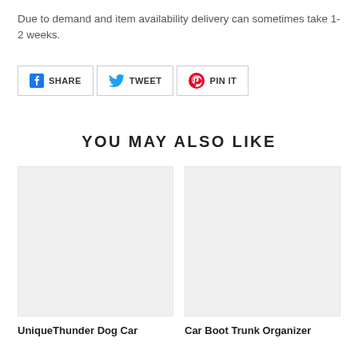Due to demand and item availability delivery can sometimes take 1-2 weeks.
[Figure (infographic): Social share buttons: SHARE (Facebook), TWEET (Twitter), PIN IT (Pinterest)]
YOU MAY ALSO LIKE
[Figure (photo): Product image placeholder (light grey box) for UniqueThunder Dog Car product]
UniqueThunder Dog Car
[Figure (photo): Product image placeholder (light grey box) for Car Boot Trunk Organizer product]
Car Boot Trunk Organizer